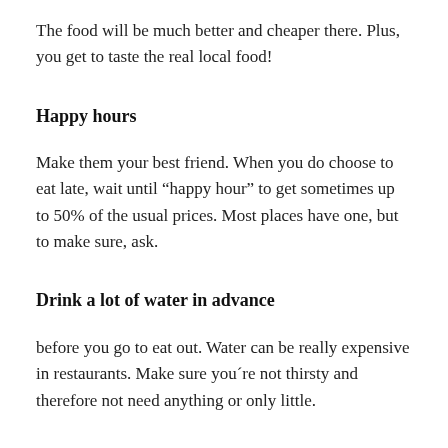The food will be much better and cheaper there. Plus, you get to taste the real local food!
Happy hours
Make them your best friend. When you do choose to eat late, wait until “happy hour” to get sometimes up to 50% of the usual prices. Most places have one, but to make sure, ask.
Drink a lot of water in advance
before you go to eat out. Water can be really expensive in restaurants. Make sure you´re not thirsty and therefore not need anything or only little.
Buy water at supermarkets
That´s where it´s cheapest. Carry water with you wherever